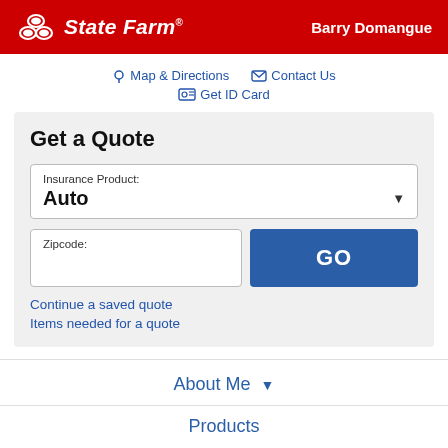State Farm — Barry Domangue
Map & Directions
Contact Us
Get ID Card
Get a Quote
Insurance Product: Auto
Zipcode:
GO
Continue a saved quote
Items needed for a quote
About Me
Products